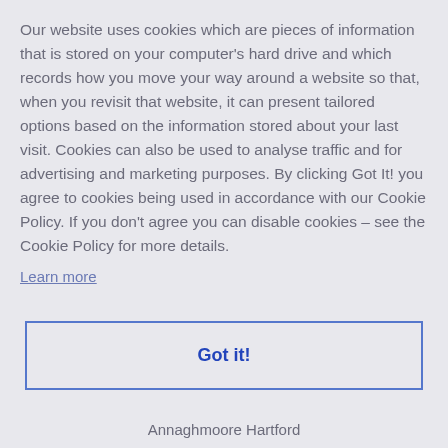Our website uses cookies which are pieces of information that is stored on your computer's hard drive and which records how you move your way around a website so that, when you revisit that website, it can present tailored options based on the information stored about your last visit. Cookies can also be used to analyse traffic and for advertising and marketing purposes. By clicking Got It! you agree to cookies being used in accordance with our Cookie Policy. If you don't agree you can disable cookies – see the Cookie Policy for more details.
Learn more
Got it!
Annaghmoore Hartford